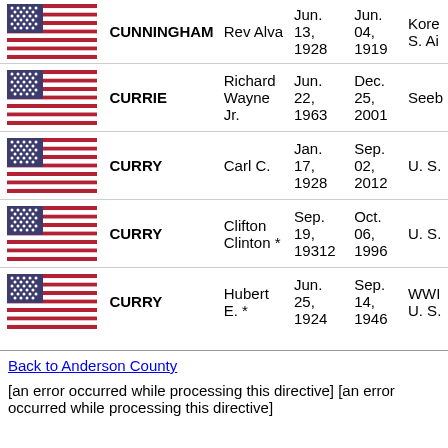| Flag | Last Name | First Name | Birth Date | Death Date | Service |
| --- | --- | --- | --- | --- | --- |
| [flag] | CUNNINGHAM | Rev Alva | Jun. 13, 1928 | Jun. 04, 1919 | Kore... S. Ai... |
| [flag] | CURRIE | Richard Wayne Jr. | Jun. 22, 1963 | Dec. 25, 2001 | Seeb... |
| [flag] | CURRY | Carl C. | Jan. 17, 1928 | Sep. 02, 2012 | U. S.... |
| [flag] | CURRY | Clifton Clinton * | Sep. 19, 19312 | Oct. 06, 1996 | U. S.... |
| [flag] | CURRY | Hubert E. * | Jun. 25, 1924 | Sep. 14, 1946 | WWII... U. S.... |
Back to Anderson County
[an error occurred while processing this directive] [an error occurred while processing this directive]